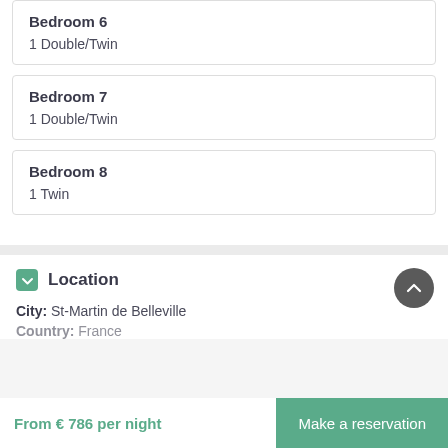Bedroom 6
1 Double/Twin
Bedroom 7
1 Double/Twin
Bedroom 8
1 Twin
Location
City: St-Martin de Belleville
Country: France
From € 786 per night
Make a reservation